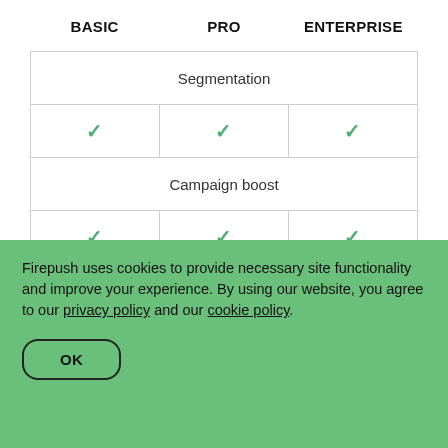| BASIC | PRO | ENTERPRISE |
| --- | --- | --- |
| Segmentation |  |  |
| ✓ | ✓ | ✓ |
| Campaign boost |  |  |
| ✓ | ✓ | ✓ |
| ... |  |  |
Firepush uses cookies to provide necessary site functionality and improve your experience. By using our website, you agree to our privacy policy and our cookie policy.